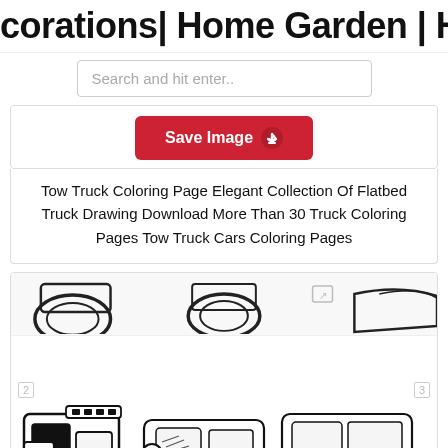orations| Home Garden | Home Fa...
Search and hit enter..
[Figure (screenshot): Save Image button (red) with upload/cloud icon]
Tow Truck Coloring Page Elegant Collection Of Flatbed Truck Drawing Download More Than 30 Truck Coloring Pages Tow Truck Cars Coloring Pages
[Figure (illustration): Black and white coloring page of a flatbed tow truck carrying two cars, with watermark numbers 2 and 3 on left and right sides]
[Figure (screenshot): Save Image button (red) with upload/cloud icon at bottom]